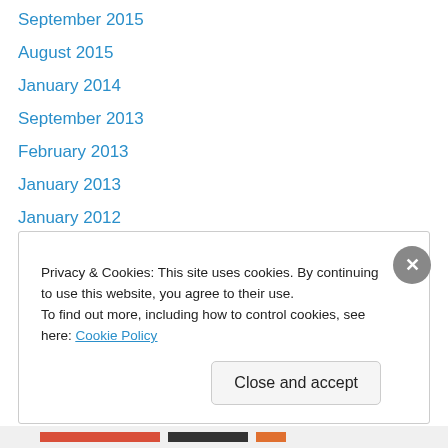September 2015
August 2015
January 2014
September 2013
February 2013
January 2013
January 2012
May 2010
August 2009
July 2009
June 2009
May 2009
April 2009
Privacy & Cookies: This site uses cookies. By continuing to use this website, you agree to their use. To find out more, including how to control cookies, see here: Cookie Policy
Close and accept